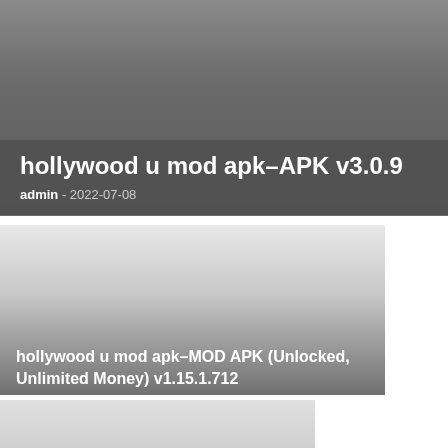[Figure (illustration): Hero banner with gradient grey background, dark overlay at bottom containing title and metadata]
hollywood u mod apk–APK v3.0.9
admin  -  2022-07-08
[Figure (illustration): Card thumbnail with light-to-dark gradient grey background, text overlay at bottom]
hollywood u mod apk–MOD APK (Unlocked, Unlimited Money) v1.15.1.712
[Figure (illustration): Partially visible card thumbnail with light grey gradient background]